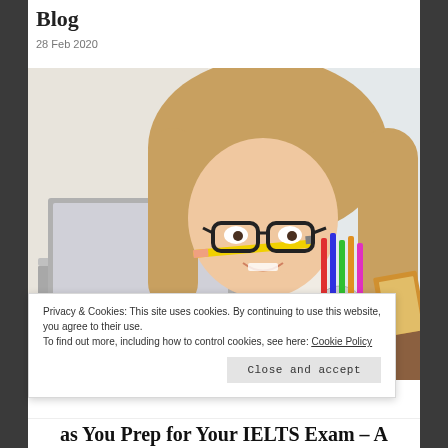Blog
28 Feb 2020
[Figure (photo): Young woman with glasses biting a pencil while studying at a desk with a laptop and colorful pencils in a cup]
Privacy & Cookies: This site uses cookies. By continuing to use this website, you agree to their use.
To find out more, including how to control cookies, see here: Cookie Policy
Close and accept
as You Prep for Your IELTS Exam – A